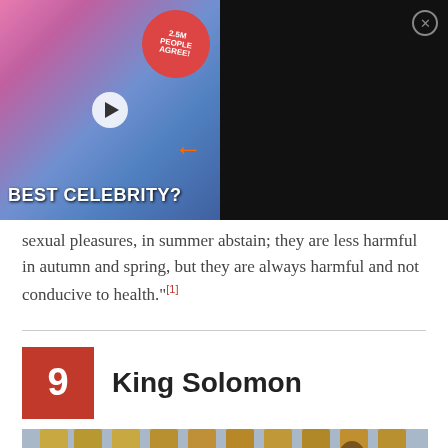[Figure (screenshot): Advertisement banner: 'Why 2.5 Million People Voted Tom Hanks As The Ultimate Celebrity' with image showing two people and text 'BEST CELEBRITY?' and a red badge saying '2.5M PEOPLE AGREE!']
sexual pleasures, in summer abstain; they are less harmful in autumn and spring, but they are always harmful and not conducive to health."[1]
9  King Solomon
[Figure (illustration): Painting of King Solomon, showing a figure with raised arm near golden columns with blue sky background]